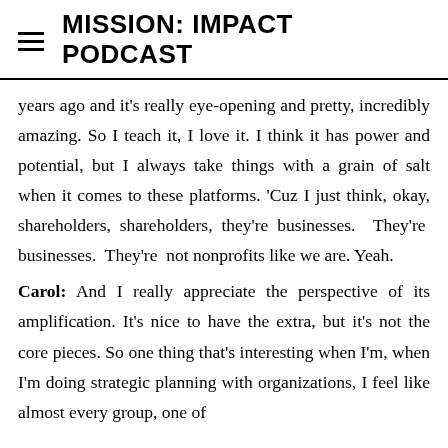MISSION: IMPACT PODCAST
years ago and it's really eye-opening and pretty, incredibly amazing. So I teach it, I love it. I think it has power and potential, but I always take things with a grain of salt when it comes to these platforms. 'Cuz I just think, okay, shareholders, shareholders, they're businesses. They're businesses. They're not nonprofits like we are. Yeah.
Carol: And I really appreciate the perspective of its amplification. It's nice to have the extra, but it's not the core pieces. So one thing that's interesting when I'm, when I'm doing strategic planning with organizations, I feel like almost every group, one of